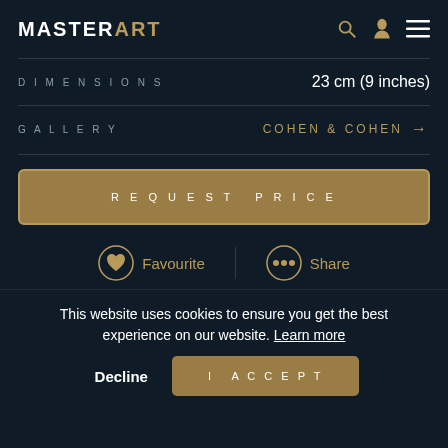MASTERART
DIMENSIONS   23 cm (9 inches)
GALLERY   COHEN & COHEN →
REQUEST PRICE
Favourite   Share
This website uses cookies to ensure you get the best experience on our website. Learn more
Decline   I ACCEPT